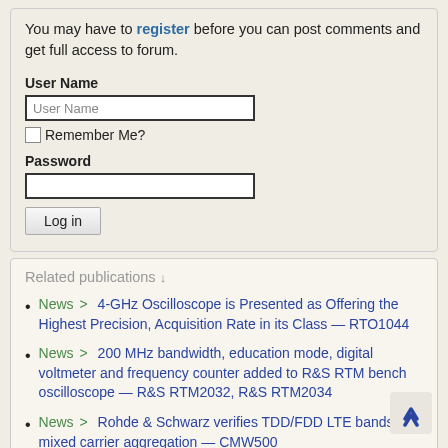You may have to register before you can post comments and get full access to forum.
User Name
Remember Me?
Password
Log in
Related publications
News > 4-GHz Oscilloscope is Presented as Offering the Highest Precision, Acquisition Rate in its Class — RTO1044
News > 200 MHz bandwidth, education mode, digital voltmeter and frequency counter added to R&S RTM bench oscilloscope — R&S RTM2032, R&S RTM2034
News > Rohde & Schwarz verifies TDD/FDD LTE bands for mixed carrier aggregation — CMW500
News > Generating DOCSIS 3.1 signals in real time with the R&S SFD signal generator from Rohde & Schwarz